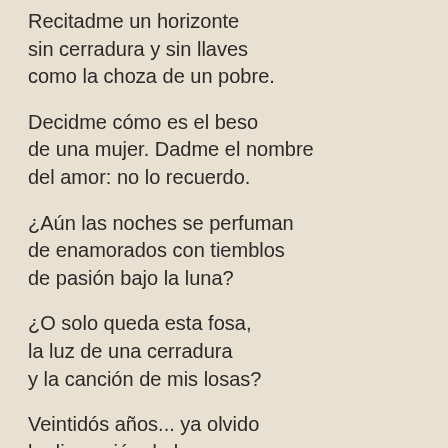Recitadme un horizonte
sin cerradura y sin llaves
como la choza de un pobre.
Decidme cómo es el beso
de una mujer. Dadme el nombre
del amor: no lo recuerdo.
¿Aún las noches se perfuman
de enamorados con tiemblos
de pasión bajo la luna?
¿O solo queda esta fosa,
la luz de una cerradura
y la canción de mis losas?
Veintidós años... ya olvido
la dimensión de las cosas,
su color, su aroma...
Escribo a tientas: el mar, el campo...
Digo bosque y he perdido